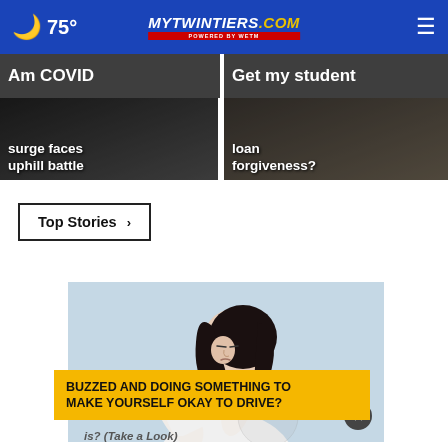75° mytwintiers.com
[Figure (screenshot): News card left: COVID surge faces uphill battle]
[Figure (screenshot): News card right: student loan forgiveness?]
Top Stories ›
[Figure (photo): Woman scratching her arm/elbow, wearing white long sleeve, light blue background]
BUZZED AND DOING SOMETHING TO MAKE YOURSELF OKAY TO DRIVE?
is? (Take a Look)